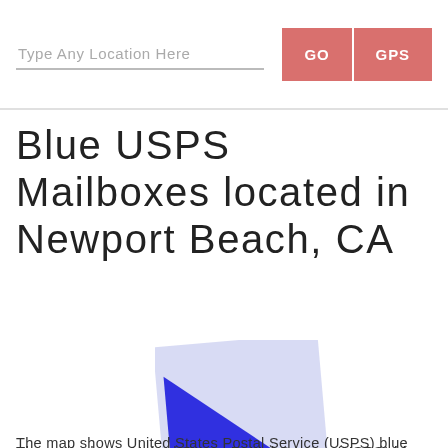Type Any Location Here  GO  GPS
Blue USPS Mailboxes located in Newport Beach, CA
[Figure (illustration): A blue envelope/mailbox map marker icon overlaid on the text, showing a stylized blue triangle arrow pointing right on a light blue rectangle background.]
The map shows United States Postal Service (USPS) blue mailboxes in Newport Beach, CA. Type any location in the field above, or click the GPS button to automatically find mailboxes near you. You can also pan and zoom the map to find mailboxes anywhere in the United States.